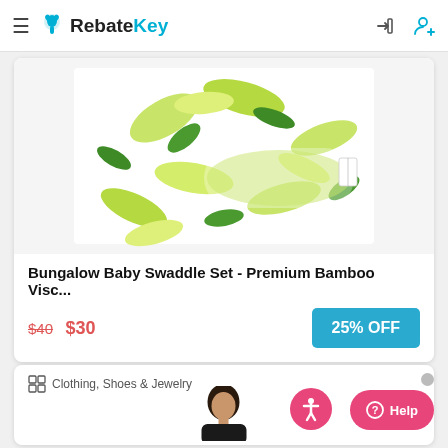RebateKey
[Figure (photo): Product photo of a baby swaddle set with green leaf pattern on white fabric, folded/stacked.]
Bungalow Baby Swaddle Set - Premium Bamboo Visc...
$40 $30  25% OFF
Clothing, Shoes & Jewelry
[Figure (photo): Partial view of a person's upper body/head, dark hair, product model.]